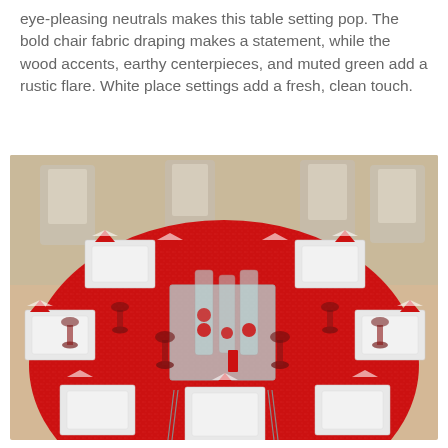eye-pleasing neutrals makes this table setting pop. The bold chair fabric draping makes a statement, while the wood accents, earthy centerpieces, and muted green add a rustic flare. White place settings add a fresh, clean touch.
[Figure (photo): A round banquet table set with a bright red glittery tablecloth, white square place settings, red and white striped folded napkins, dark red wine glasses, and a mirrored centerpiece with glass cylinder vases containing ornaments. White fabric-draped chairs surround the table in the background.]